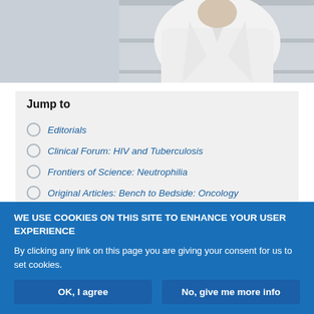[Figure (photo): Person wearing a white lab coat, partially cropped, in a laboratory or clinical setting]
Jump to
Editorials
Clinical Forum: HIV and Tuberculosis
Frontiers of Science: Neutrophilia
Original Articles: Bench to Bedside: Oncology
Original Articles: Genetics
Original Articles: Respiratory Cell Biology
Original Articles: Interstitial Lung Disease
WE USE COOKIES ON THIS SITE TO ENHANCE YOUR USER EXPERIENCE
By clicking any link on this page you are giving your consent for us to set cookies.